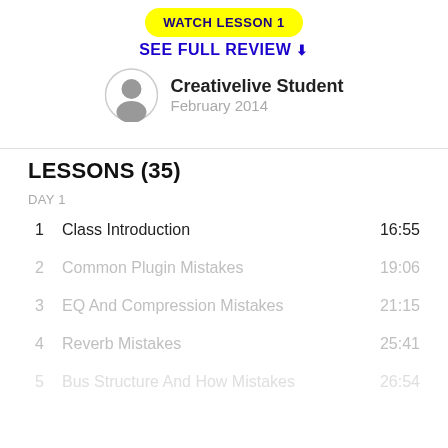WATCH LESSON 1
SEE FULL REVIEW
Creativelive Student
February 2014
LESSONS (35)
DAY 1
1   Class Introduction   16:55
2   Common Plugin Mistakes   19:06
3   EQ And Compression Mistakes   21:15
4   Reverb Mistakes   25:41
5   Bus Structure And How Mistakes   26:54